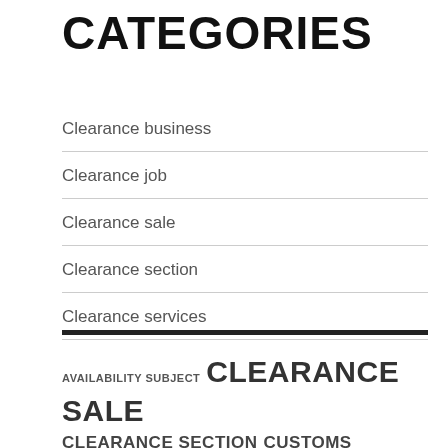CATEGORIES
Clearance business
Clearance job
Clearance sale
Clearance section
Clearance services
AVAILABILITY SUBJECT  CLEARANCE SALE  CLEARANCE SECTION  CUSTOMS CLEARANCE  EARN COMMISSION  FREE SHIPPING  FULL TIME  HIGH QUALITY